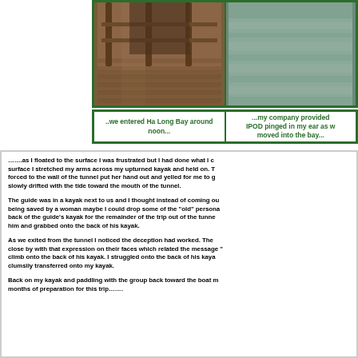[Figure (photo): Photo of a wooden boat deck with ornate railings on Ha Long Bay]
[Figure (photo): Photo of Ha Long Bay water surface]
..we entered Ha Long Bay around noon...
...my company provided IPOD pinged in my ear as we moved into the bay...
.......as I floated to the surface I was frustrated but I had done what I c... surface I stretched my arms across my upturned kayak and held on. T... forced to the wall of the tunnel put her hand out and yelled for me to g... slowly drifted with the tide toward the mouth of the tunnel.
The guide was in a kayak next to us and I thought instead of coming ou... being saved by a woman maybe I could drop some of the "old" persona... back of the guide's kayak for the remainder of the trip out of the tunne... him and grabbed onto the back of his kayak.
As we exited from the tunnel I noticed the deception had worked. The... close by with that expression on their faces which related the message "... climb onto the back of his kayak. I struggled onto the back of his kaya... clumsily transferred onto my kayak.
Back on my kayak and paddling with the group back toward the boat m... months of preparation for this trip…….